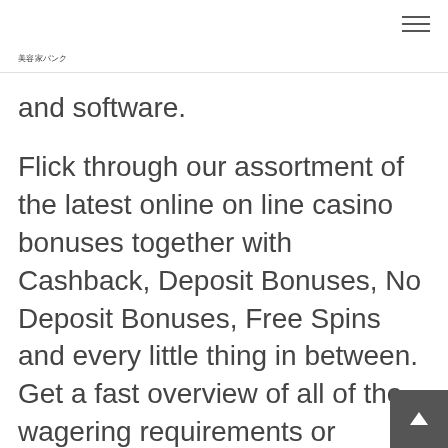美容家バンク
and software.
Flick through our assortment of the latest online on line casino bonuses together with Cashback, Deposit Bonuses, No Deposit Bonuses, Free Spins and every little thing in between. Get a fast overview of all of the wagering requirements or examine all bonuses in our full on line casino bonus index. PocketWin is likely certainly one of the only online casinos offer the option of paying by telephone